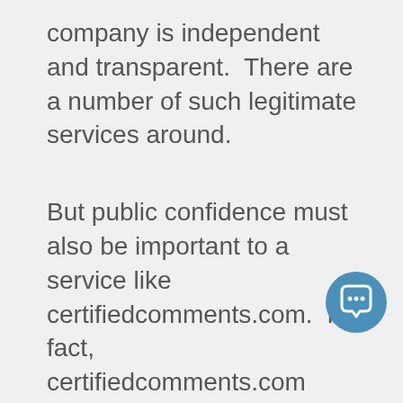company is independent and transparent.  There are a number of such legitimate services around.
But public confidence must also be important to a service like certifiedcomments.com.  In fact, certifiedcomments.com refers to public confidence on its remarkably simple 3-page website (top page, login page for “existing clients” and an email page to request an “invite” – all other pages on the site are disconnected). They say, “Show your customers that you are real